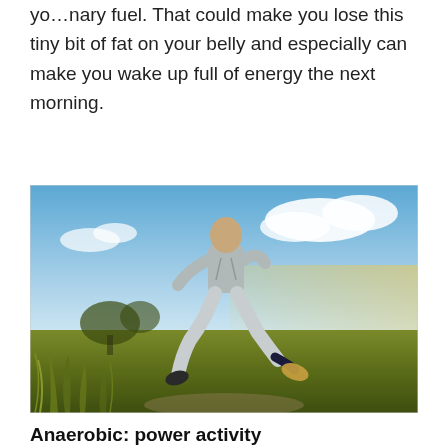yo…nary fuel. That could make you lose this tiny bit of fat on your belly and especially can make you wake up full of energy the next morning.
[Figure (photo): Person running through a grassy field with blue sky and clouds in the background, viewed from behind, wearing grey athletic clothes and sneakers.]
Anaerobic: power activity